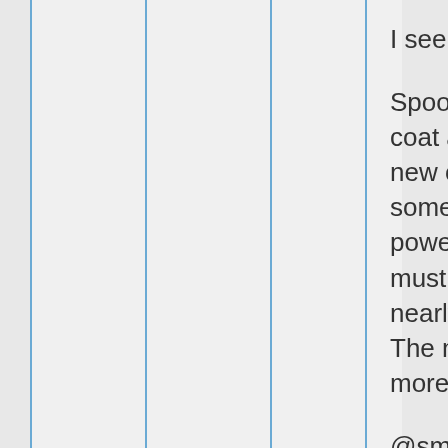I see a spin-off here !!
Spooky 'misplaces' his coat and it chooses a new owner, giving him some temporary magic powers. But the owner must be nude ( or nearly so ) inside of it. The more naked the more magic.
@smsif:disqus